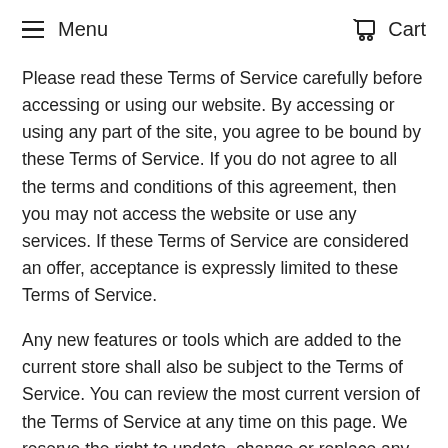Menu   Cart
Please read these Terms of Service carefully before accessing or using our website. By accessing or using any part of the site, you agree to be bound by these Terms of Service. If you do not agree to all the terms and conditions of this agreement, then you may not access the website or use any services. If these Terms of Service are considered an offer, acceptance is expressly limited to these Terms of Service.
Any new features or tools which are added to the current store shall also be subject to the Terms of Service. You can review the most current version of the Terms of Service at any time on this page. We reserve the right to update, change or replace any part of these Terms of Service by posting updates and/or changes to our website. It is your